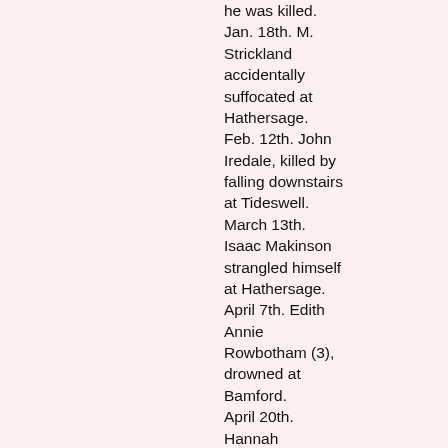he was killed. Jan. 18th. M. Strickland accidentally suffocated at Hathersage. Feb. 12th. John Iredale, killed by falling downstairs at Tideswell. March 13th. Isaac Makinson strangled himself at Hathersage. April 7th. Edith Annie Rowbotham (3), drowned at Bamford. April 20th. Hannah Bramwell, death accelerated by a fall at Tideswell. Aug. 12th. Archibald Jerram, drowned whilst bathing in the